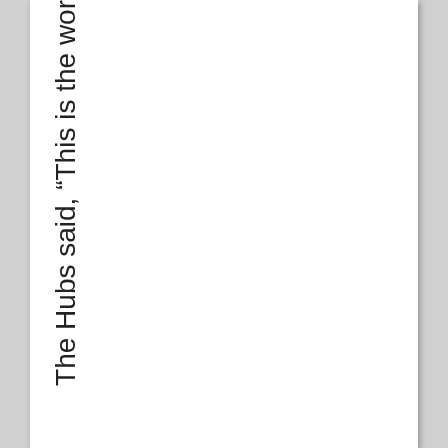The Hubs said, "This is the wor